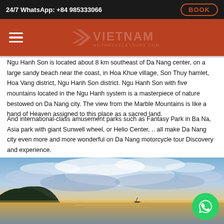24/7 WhatsApp: +84 985333066  BOOK
[Figure (logo): Vietnam Motorcycle Tours logo with hamburger menu on dark red navigation bar]
Ngu Hanh Son is located about 8 km southeast of Da Nang center, on a large sandy beach near the coast, in Hoa Khue village, Son Thuy hamlet, Hoa Vang district, Ngu Hanh Son district. Ngu Hanh Son with five mountains located in the Ngu Hanh system is a masterpiece of nature bestowed on Da Nang city. The view from the Marble Mountains is like a hand of Heaven assigned to this place as a sacred land.
And international-class amusement parks such as Fantasy Park in Ba Na, Asia park with giant Sunwell wheel, or Helio Center, .. all make Da Nang city even more and more wonderful on Da Nang motorcycle tour Discovery and experience.
[Figure (photo): Coastal beach landscape with mountain silhouette, calm water reflecting golden sunset light, dramatic cloudy sky in blue and orange tones]